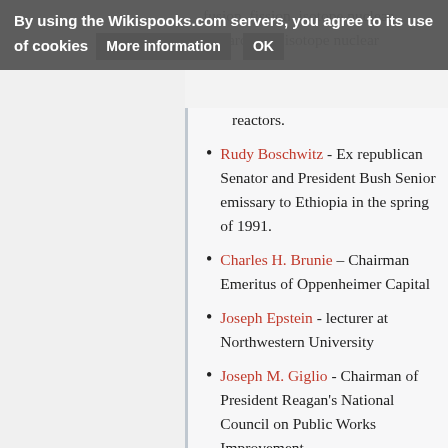By using the Wikispooks.com servers, you agree to its use of cookies  More information  OK
reactors.
Rudy Boschwitz - Ex republican Senator and President Bush Senior emissary to Ethiopia in the spring of 1991.
Charles H. Brunie – Chairman Emeritus of Oppenheimer Capital
Joseph Epstein - lecturer at Northwestern University
Joseph M. Giglio - Chairman of President Reagan's National Council on Public Works Improvement
Roy Innis - Roy Innis is